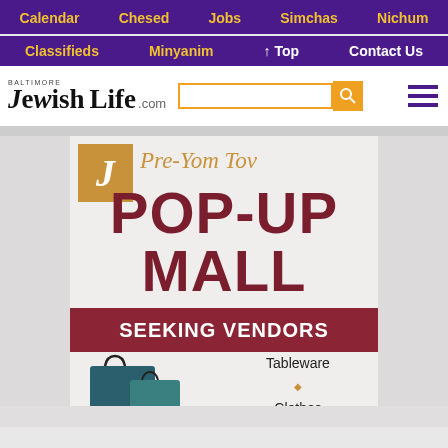Calendar | Chesed | Jobs | Simchas | Nichum
Classifieds | Minyanim | ↑ Top | Contact Us
[Figure (logo): Baltimore Jewish Life .com logo with search bar and hamburger menu]
[Figure (infographic): Pre-Yom Tov Pop-Up Mall advertisement seeking vendors for Tableware, Clothes, Home Needs]